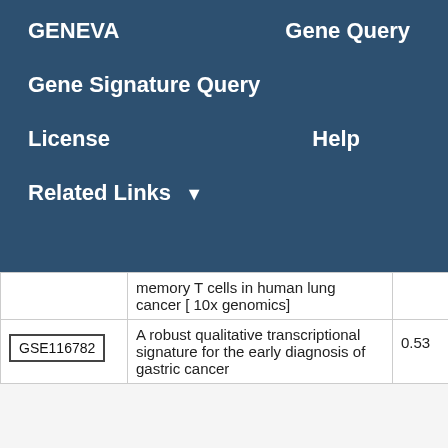GENEVA   Gene Query
Gene Signature Query
License   Help
Related Links ▼
|  | Description | Score |
| --- | --- | --- |
|  | memory T cells in human lung cancer [ 10x genomics] |  |
| GSE116782 | A robust qualitative transcriptional signature for the early diagnosis of gastric cancer | 0.53 |